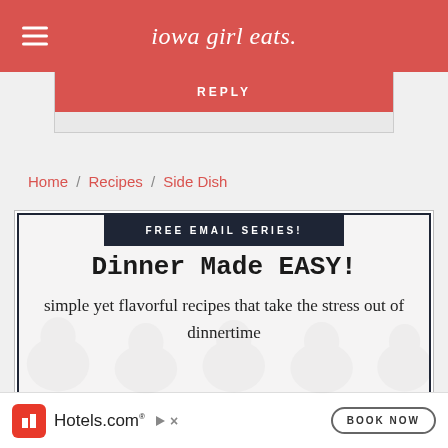iowa girl eats.
REPLY
Home / Recipes / Side Dish
FREE EMAIL SERIES!
Dinner Made EASY!
simple yet flavorful recipes that take the stress out of dinnertime
[Figure (screenshot): Hotels.com advertisement banner with logo, Hotels.com text, and BOOK NOW button]